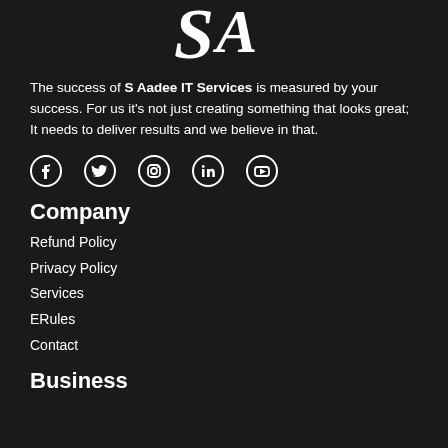[Figure (logo): SA monogram logo in white serif font on dark background]
The success of S Aadee IT Services is measured by your success. For us it's not just creating something that looks great; It needs to deliver results and we believe in that.
[Figure (infographic): Row of 5 social media icons: Facebook, Twitter, Instagram, LinkedIn, YouTube]
Company
Refund Policy
Privacy Policy
Services
ERules
Contact
Business